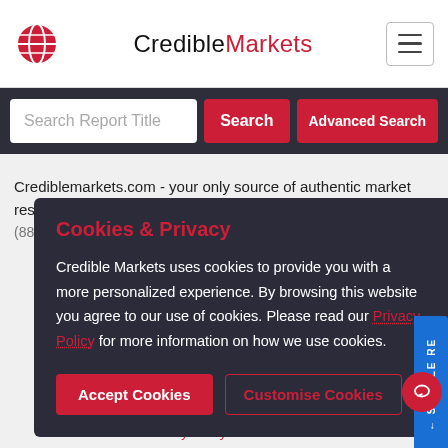CredibleMarkets
Search Report Title
Crediblemarkets.com - your only source of authentic market research (880,000+ industry reports) aggregated fro...
REQUEST A CALL BACK
Cookies & Privacy
Credible Markets uses cookies to provide you with a more personalized experience. By browsing this website you agree to our use of cookies. Please read our Privacy Policy for more information on how we use cookies.
Accept Cookies
Customise Cookies
Privacy Policy & Disclaimer